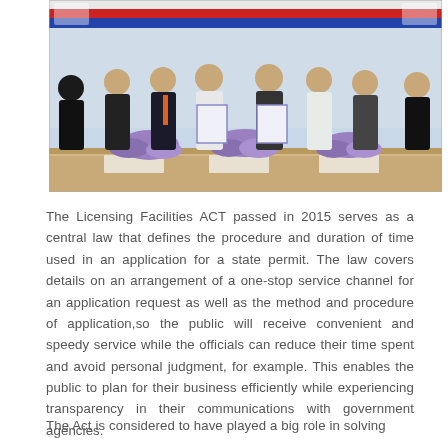[Figure (photo): Group of officials standing at a signing ceremony table with floral arrangements and name placards, with Thai flag decorations in the background. Two central figures hold up signed documents.]
The Licensing Facilities ACT passed in 2015 serves as a central law that defines the procedure and duration of time used in an application for a state permit. The law covers details on an arrangement of a one-stop service channel for an application request as well as the method and procedure of application,so the public will receive convenient and speedy service while the officials can reduce their time spent and avoid personal judgment, for example. This enables the public to plan for their business efficiently while experiencing transparency in their communications with government agencies.
The Act is considered to have played a big role in solving